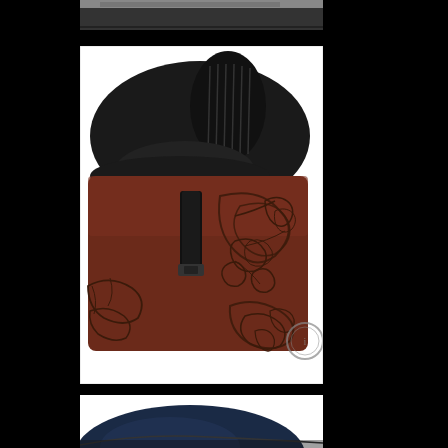[Figure (photo): Partial view of a saddle or leather equipment, cropped at top, showing dark frame/structure against a muted background.]
[Figure (photo): Close-up photograph of a Western-style horse saddle with dark brown/mahogany leather featuring ornate floral tooling/carving patterns and black suede seat and pommel.]
[Figure (photo): Partial photograph showing what appears to be a navy blue or dark saddle component, cropped, on white background.]